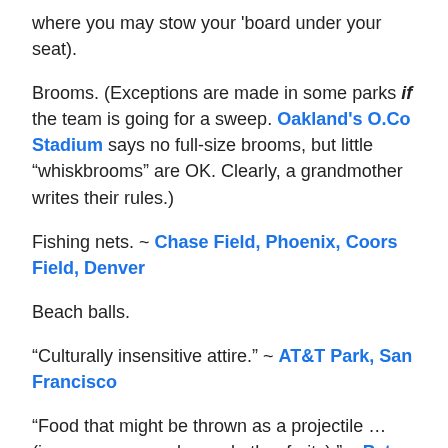where you may stow your 'board under your seat).
Brooms. (Exceptions are made in some parks if the team is going for a sweep. Oakland's O.Co Stadium says no full-size brooms, but little “whiskbrooms” are OK. Clearly, a grandmother writes their rules.)
Fishing nets. ~ Chase Field, Phoenix, Coors Field, Denver
Beach balls.
“Culturally insensitive attire.” ~ AT&T Park, San Francisco
“Food that might be thrown as a projectile … (i.e., oranges, apples and other fruits).” ~ Petco Park, San Diego